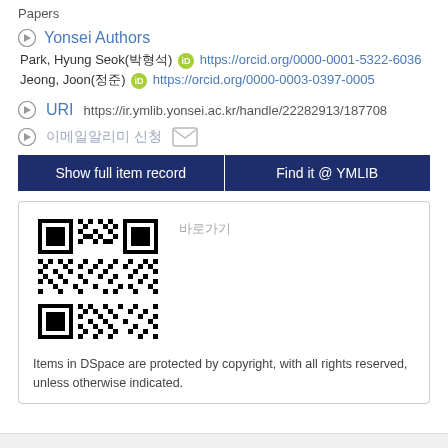Papers
Yonsei Authors
Park, Hyung Seok(박형석) https://orcid.org/0000-0001-5322-6036
Jeong, Joon(정준) https://orcid.org/0000-0003-0397-0005
URI
https://ir.ymlib.yonsei.ac.kr/handle/22282913/187708
이메일알리미 신청
Show full item record
Find it @ YMLIB
[Figure (other): QR code for the repository item]
바로가기
Items in DSpace are protected by copyright, with all rights reserved, unless otherwise indicated.